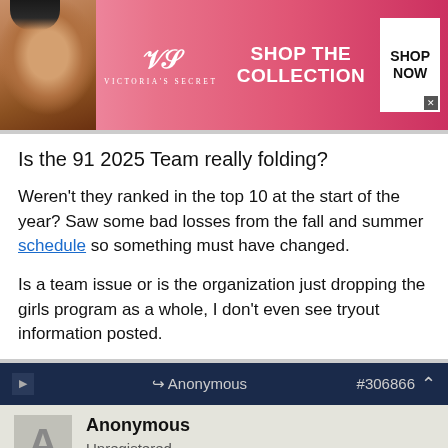[Figure (illustration): Victoria's Secret advertisement banner with model, VS logo, 'SHOP THE COLLECTION' text, and 'SHOP NOW' button on pink background]
Is the 91 2025 Team really folding?
Weren't they ranked in the top 10 at the start of the year? Saw some bad losses from the fall and summer schedule so something must have changed.
Is a team issue or is the organization just dropping the girls program as a whole, I don't even see tryout information posted.
Anonymous #306866
Anonymous
Unregistered
[Figure (illustration): NFL Shop advertisement with jersey image, 'Free shipping on orders over $25', www.nflshop.com]